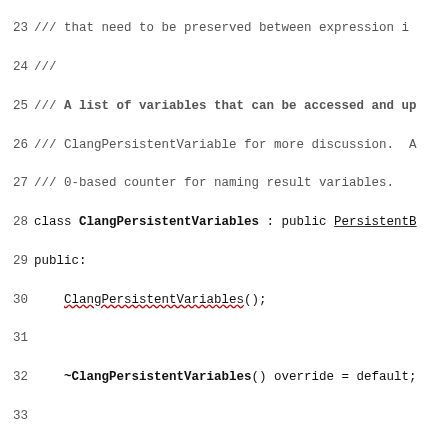Code listing showing ClangPersistentVariables class declaration, lines 23-52
23 /// that need to be preserved between expression i
24 ///
25 /// A list of variables that can be accessed and up
26 /// ClangPersistentVariable for more discussion. A
27 /// 0-based counter for naming result variables.
28 class ClangPersistentVariables : public PersistentB
29 public:
30   ClangPersistentVariables();
31
32   ~ClangPersistentVariables() override = default;
33
34   // llvm casting support
35   static bool classof(const PersistentExpressionSta
36     return pv->getKind() == PersistentExpressionSta
37   }
38
39   lldb::ExpressionVariableSP
40   CreatePersistentVariable(const lldb::ValueObjectS
41
42   lldb::ExpressionVariableSP CreatePersistentVariab
43       ExecutionContextScope *exe_scope, ConstString
44       const CompilerType &compiler_type, lldb::Byte
45       uint32_t addr_byte_size) override;
46
47   void RemovePersistentVariable(lldb::ExpressionVar
48
49   llvm::StringRef GetPersistentVariablePrefix(bool
50     return "$";
51   }
52